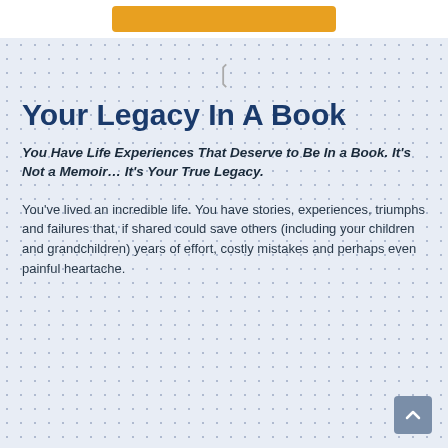Your Legacy In A Book
You Have Life Experiences That Deserve to Be In a Book. It's Not a Memoir… It's Your True Legacy.
You've lived an incredible life. You have stories, experiences, triumphs and failures that, if shared could save others (including your children and grandchildren) years of effort, costly mistakes and perhaps even painful heartache.